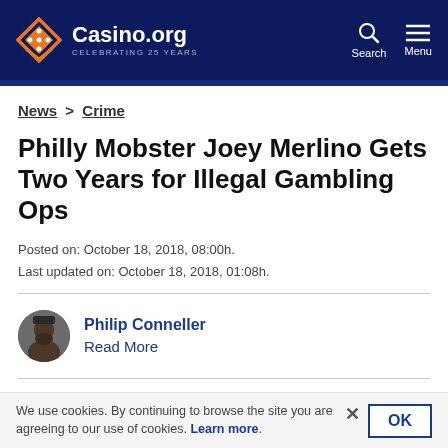Casino.org — CELEBRATING 25 YEARS
News > Crime
Philly Mobster Joey Merlino Gets Two Years for Illegal Gambling Ops
Posted on: October 18, 2018, 08:00h.
Last updated on: October 18, 2018, 01:08h.
Philip Conneller
Read More
“Skinny” Joey Merlino — reputed by some to be the boss of the Philadelphia Mob — was sentenced to two years in prison by a Manhattan judge on Wednesday for operating
We use cookies. By continuing to browse the site you are agreeing to our use of cookies. Learn more.